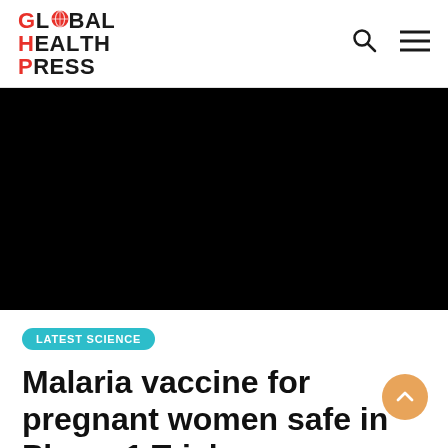GLOBAL HEALTH PRESS
[Figure (photo): Large black hero image area, likely a photo of a medical or field setting that is not visible (black/unloaded image).]
LATEST SCIENCE
Malaria vaccine for pregnant women safe in Phase 1 Trial